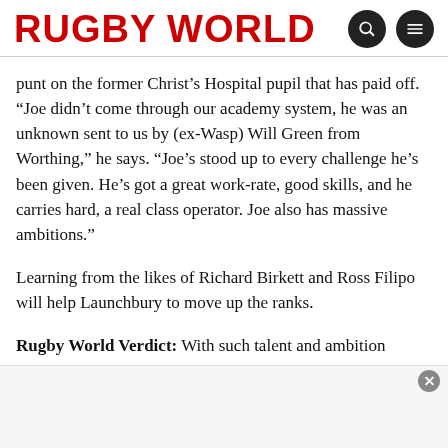RUGBY WORLD
punt on the former Christ’s Hospital pupil that has paid off. “Joe didn’t come through our academy system, he was an unknown sent to us by (ex-Wasp) Will Green from Worthing,” he says. “Joe’s stood up to every challenge he’s been given. He’s got a great work-rate, good skills, and he carries hard, a real class operator. Joe also has massive ambitions.”
Learning from the likes of Richard Birkett and Ross Filipo will help Launchbury to move up the ranks.
Rugby World Verdict: With such talent and ambition Launchbury has 2015 on his radar. Bea Asprey